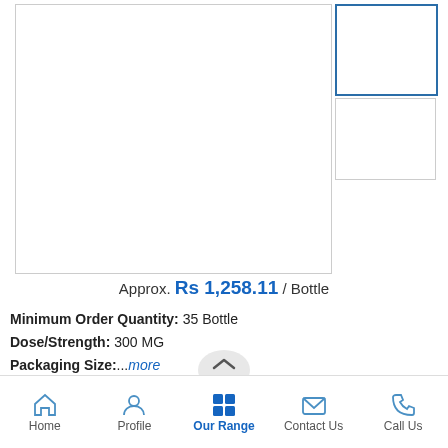[Figure (photo): Main product image placeholder - large white box with light gray border]
[Figure (photo): Thumbnail 1 - white box with blue border]
[Figure (photo): Thumbnail 2 - white box with light border]
Approx. Rs 1,258.11 / Bottle
Minimum Order Quantity: 35 Bottle
Dose/Strength: 300 MG
Packaging Size: ...more
Home   Profile   Our Range   Contact Us   Call Us